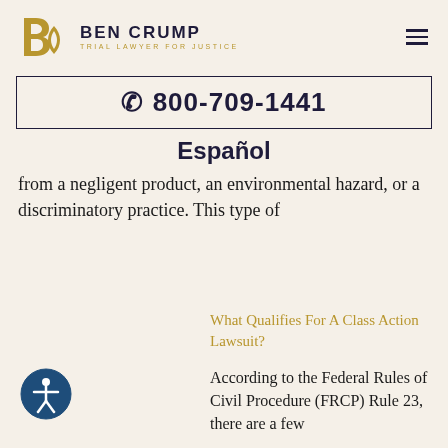BEN CRUMP — TRIAL LAWYER FOR JUSTICE
☎ 800-709-1441
Español
from a negligent product, an environmental hazard, or a discriminatory practice. This type of
What Qualifies For A Class Action Lawsuit?
According to the Federal Rules of Civil Procedure (FRCP) Rule 23, there are a few